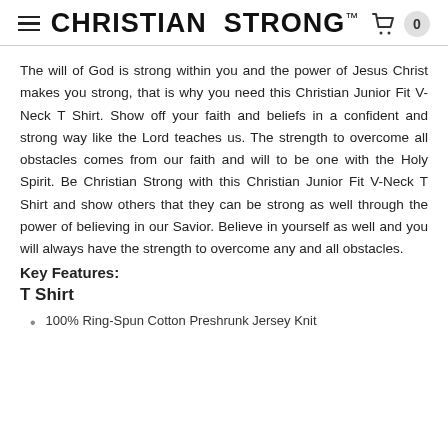CHRISTIAN STRONG™
The will of God is strong within you and the power of Jesus Christ makes you strong, that is why you need this Christian Junior Fit V-Neck T Shirt. Show off your faith and beliefs in a confident and strong way like the Lord teaches us. The strength to overcome all obstacles comes from our faith and will to be one with the Holy Spirit. Be Christian Strong with this Christian Junior Fit V-Neck T Shirt and show others that they can be strong as well through the power of believing in our Savior. Believe in yourself as well and you will always have the strength to overcome any and all obstacles.
Key Features:
T Shirt
100% Ring-Spun Cotton Preshrunk Jersey Knit